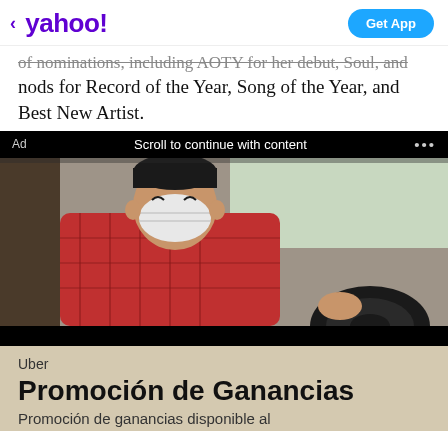< yahoo!   Get App
of nominations, including AOTY for her debut, Soul, and nods for Record of the Year, Song of the Year, and Best New Artist.
Ad   Scroll to continue with content   ...
[Figure (photo): Person wearing a red plaid shirt and N95 mask sitting in the driver's seat of a car, smiling and raising one hand]
Uber
Promoción de Ganancias
Promoción de ganancias disponible al